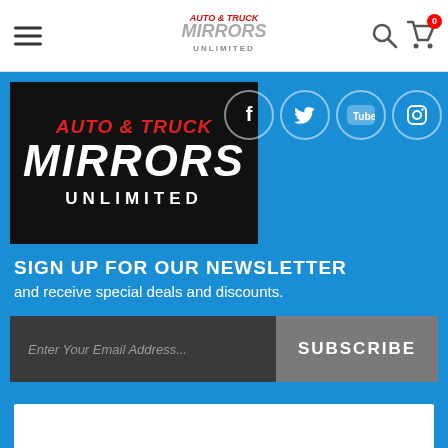[Figure (screenshot): Auto & Truck Mirrors Unlimited website navigation bar with hamburger menu, logo, search icon, and cart icon with badge showing 0]
[Figure (logo): Auto & Truck Mirrors Unlimited logo on black background]
[Figure (infographic): Social media icons: Facebook, Twitter, YouTube, Instagram on blue background]
SIGN UP FOR OUR NEWSLETTER
and receive special deals and discounts.
Enter Your Email Address... SUBSCRIBE
COMPANY
CUSTOMER SERVICE